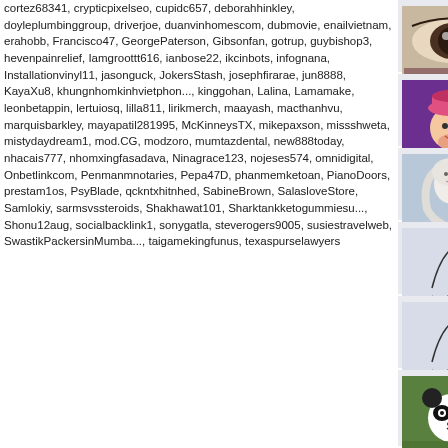cortez68341, crypticpixelseo, cupidc657, deborahhinkley, doyleplumbinggroup, driverjoe, duanvinhomescom, dubmovie, enailvietnam, erahobb, Francisco47, GeorgePaterson, Gibsonfan, gotrup, guybishop3, hevenpainrelief, Iamgroottt616, ianbose22, ikcinbots, infognana, Installationvinyl11, jasonguck, JokersStash, josephfirarae, jun8888, KayaXu8, khungnhomkinhvietphon..., kinggohan, Lalina, Lamamake, leonbetappin, lertuiosq, lilla811, lirikmerch, maayash, macthanhvu, marquisbarkley, mayapatil281995, McKinneysTX, mikepaxson, missshweta, mistydaydream1, mod.CG, modzoro, mumtazdental, new888today, nhacais777, nhomxingfasadava, Ninagrace123, nojeses574, omnidigital, Onbetlinkcom, Penmanmnotaries, Pepa47D, phanmemketoan, PianoDoors, prestam1os, PsyBlade, qckntxhitnhed, SabineBrown, SalasloveStore, Samlokiy, sarmsvssteroids, Shakhawat101, Sharktankketogummiesu..., Shonu12aug, socialbacklink1, sonygatla, steverogers9005, susiestravelweb, SwastikPackersinMumba..., taigamekingfunus, texaspurselawyers
[Figure (screenshot): Post card: close-up of an eye, posted by Alexandra66 on 03/30/16. Fav. +1]
[Figure (screenshot): Post card: cartoon character with pink hat, posted by MagicMinnie on 03/30/16. Cuteeee with smiley emoji]
[Figure (screenshot): Post card: stylized white-haired figure, posted by Darksong on 03/30/16 at 10:0. sweet]
[Figure (screenshot): Post card: line drawing bird/figure, posted by abinandan27 on 03/30/16. adorable with smiley emoji]
[Figure (screenshot): Post card: same line drawing, posted by abinandan27 on 06/06/12. i love panda..!!]
[Figure (screenshot): Post card: panda photo, posted by haysparky on 02/06/12 at 06:. AHHHHHHHHHHHHHHHHH!!! im picture:p panda's rule. im even maki]
[Figure (screenshot): Post card: partially visible at bottom]